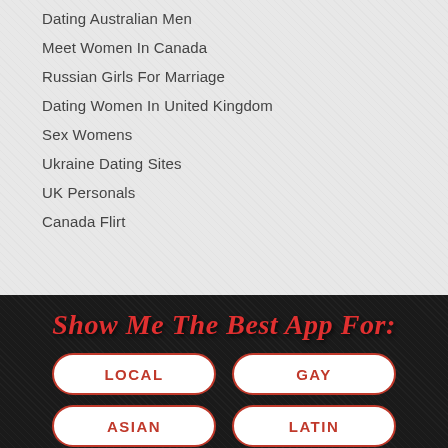Dating Australian Men
Meet Women In Canada
Russian Girls For Marriage
Dating Women In United Kingdom
Sex Womens
Ukraine Dating Sites
UK Personals
Canada Flirt
Show Me The Best App For:
LOCAL
GAY
ASIAN
LATIN